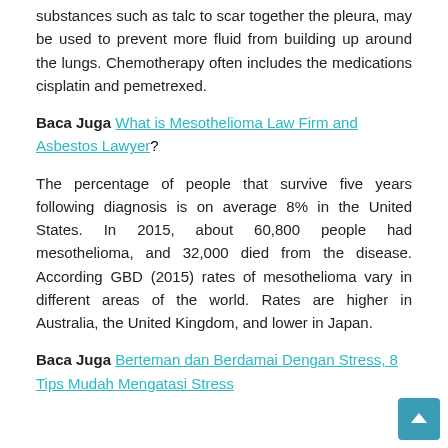substances such as talc to scar together the pleura, may be used to prevent more fluid from building up around the lungs. Chemotherapy often includes the medications cisplatin and pemetrexed.
Baca Juga What is Mesothelioma Law Firm and Asbestos Lawyer?
The percentage of people that survive five years following diagnosis is on average 8% in the United States. In 2015, about 60,800 people had mesothelioma, and 32,000 died from the disease. According GBD (2015) rates of mesothelioma vary in different areas of the world. Rates are higher in Australia, the United Kingdom, and lower in Japan.
Baca Juga Berteman dan Berdamai Dengan Stress, 8 Tips Mudah Mengatasi Stress